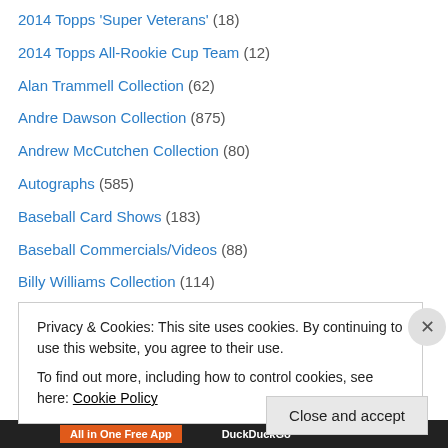2014 Topps 'Super Veterans' (18)
2014 Topps All-Rookie Cup Team (12)
Alan Trammell Collection (62)
Andre Dawson Collection (875)
Andrew McCutchen Collection (80)
Autographs (585)
Baseball Card Shows (183)
Baseball Commercials/Videos (88)
Billy Williams Collection (114)
Birthdays & Anniversaries (1,939)
Bo Jackson Collection (53)
Bob Gibson Collection (108)
Brooks Robinson Collection (81)
Privacy & Cookies: This site uses cookies. By continuing to use this website, you agree to their use. To find out more, including how to control cookies, see here: Cookie Policy
Close and accept